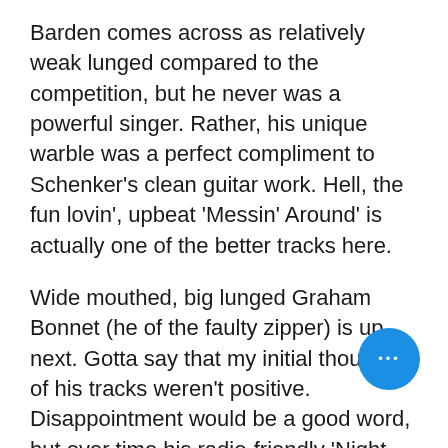Barden comes across as relatively weak lunged compared to the competition, but he never was a powerful singer. Rather, his unique warble was a perfect compliment to Schenker's clean guitar work. Hell, the fun lovin', upbeat 'Messin' Around' is actually one of the better tracks here.
Wide mouthed, big lunged Graham Bonnet (he of the faulty zipper) is up next. Gotta say that my initial thoughts of his tracks weren't positive. Disappointment would be a good word, but over time his radio-friendly 'Night Moves' and pseudo-exotic 'Everest' have both grown on me. (Not sure Bonnet wasn't included in the crea... of the lyrics in these cases, a third party